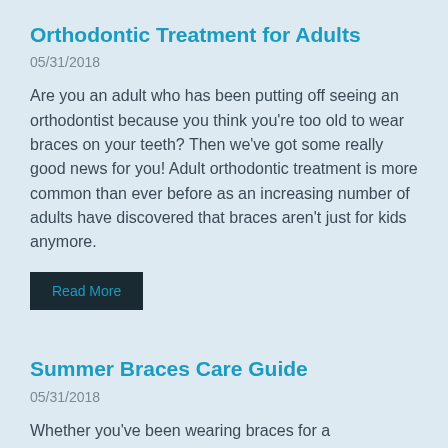Orthodontic Treatment for Adults
05/31/2018
Are you an adult who has been putting off seeing an orthodontist because you think you’re too old to wear braces on your teeth? Then we’ve got some really good news for you! Adult orthodontic treatment is more common than ever before as an increasing number of adults have discovered that braces aren’t just for kids anymore.
Read More
Summer Braces Care Guide
05/31/2018